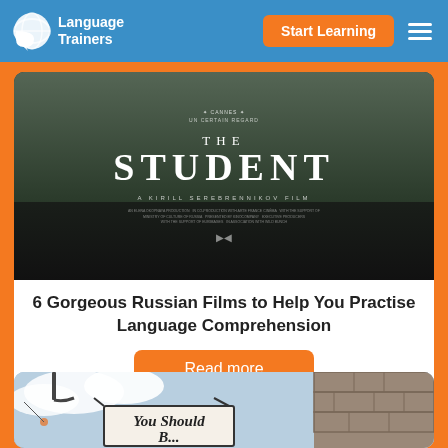Language Trainers | Start Learning
[Figure (photo): Movie poster for 'The Student', a Kirill Serebrennikov film, showing a person in a dark sweater with the film title in large white letters on a dark background]
6 Gorgeous Russian Films to Help You Practise Language Comprehension
Read more
[Figure (photo): A hanging shop sign reading 'You Should Be' with a stone wall visible on the right side and cloudy sky in the background]